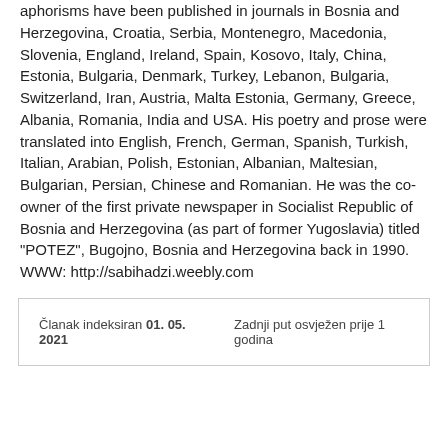aphorisms have been published in journals in Bosnia and Herzegovina, Croatia, Serbia, Montenegro, Macedonia, Slovenia, England, Ireland, Spain, Kosovo, Italy, China, Estonia, Bulgaria, Denmark, Turkey, Lebanon, Bulgaria, Switzerland, Iran, Austria, Malta Estonia, Germany, Greece, Albania, Romania, India and USA. His poetry and prose were translated into English, French, German, Spanish, Turkish, Italian, Arabian, Polish, Estonian, Albanian, Maltesian, Bulgarian, Persian, Chinese and Romanian. He was the co-owner of the first private newspaper in Socialist Republic of Bosnia and Herzegovina (as part of former Yugoslavia) titled "POTEZ", Bugojno, Bosnia and Herzegovina back in 1990. WWW: http://sabihadzi.weebly.com
Članak indeksiran 01. 05. 2021    Zadnji put osvježen prije 1 godina